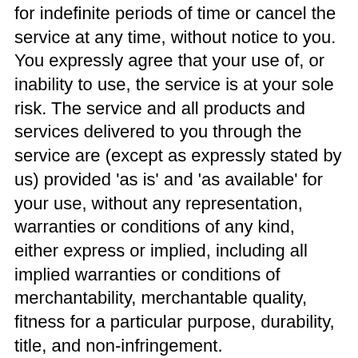for indefinite periods of time or cancel the service at any time, without notice to you. You expressly agree that your use of, or inability to use, the service is at your sole risk. The service and all products and services delivered to you through the service are (except as expressly stated by us) provided 'as is' and 'as available' for your use, without any representation, warranties or conditions of any kind, either express or implied, including all implied warranties or conditions of merchantability, merchantable quality, fitness for a particular purpose, durability, title, and non-infringement. In no case shall marche laon, our directors, officers, employees, affiliates, agents, contractors, interns, suppliers, service providers or licensors be liable for any injury, loss, claim, or any direct, indirect, incidental, punitive, special, or consequential damages of any kind, including, without limitation lost profits, lost revenue, lost savings, loss of data, replacement costs, or any similar damages, whether based in contract, tort (including negligence), strict liability,